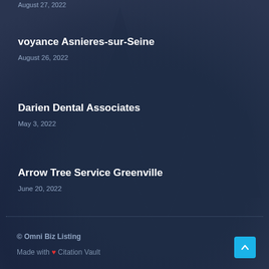August 27, 2022
voyance Asnieres-sur-Seine
August 26, 2022
Darien Dental Associates
May 3, 2022
Arrow Tree Service Greenville
June 20, 2022
© Omni Biz Listing
Made with ❤ Citation Vault